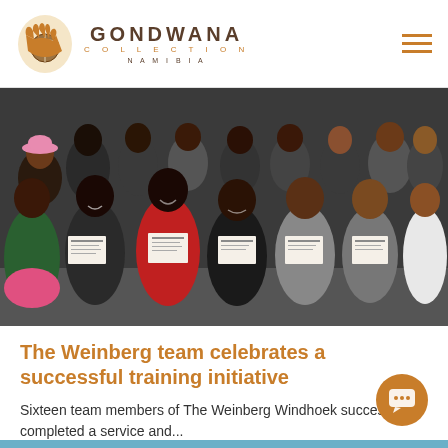GONDWANA COLLECTION NAMIBIA
[Figure (photo): Group photo of approximately 20 smiling team members holding certificates, standing outdoors in front of a dark wall. Several people in the front row are holding white certificates.]
The Weinberg team celebrates a successful training initiative
Sixteen team members of The Weinberg Windhoek successfully completed a service and...